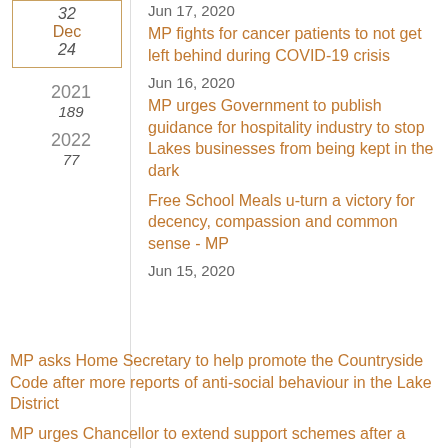32
Dec
24
2021
189
2022
77
Jun 17, 2020
MP fights for cancer patients to not get left behind during COVID-19 crisis
Jun 16, 2020
MP urges Government to publish guidance for hospitality industry to stop Lakes businesses from being kept in the dark
Free School Meals u-turn a victory for decency, compassion and common sense - MP
Jun 15, 2020
MP asks Home Secretary to help promote the Countryside Code after more reports of anti-social behaviour in the Lake District
MP urges Chancellor to extend support schemes after a